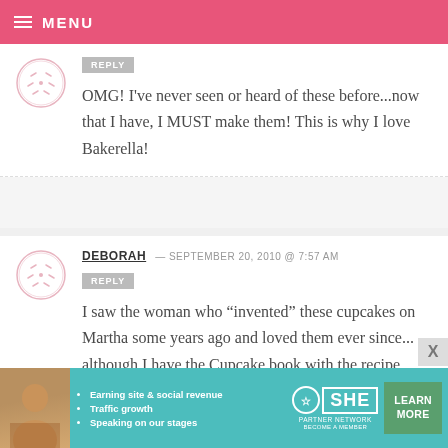MENU
OMG! I've never seen or heard of these before...now that I have, I MUST make them! This is why I love Bakerella!
DEBORAH — SEPTEMBER 20, 2010 @ 7:57 AM
I saw the woman who "invented" these cupcakes on Martha some years ago and loved them ever since... although I have the Cupcake book with the recipe...